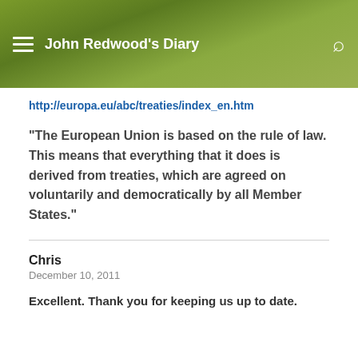John Redwood's Diary
http://europa.eu/abc/treaties/index_en.htm
“The European Union is based on the rule of law. This means that everything that it does is derived from treaties, which are agreed on voluntarily and democratically by all Member States.”
Chris
December 10, 2011
Excellent. Thank you for keeping us up to date.